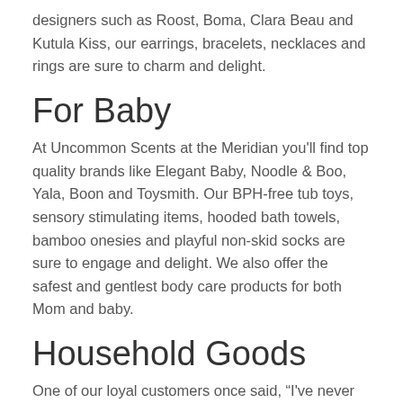designers such as Roost, Boma, Clara Beau and Kutula Kiss, our earrings, bracelets, necklaces and rings are sure to charm and delight.
For Baby
At Uncommon Scents at the Meridian you'll find top quality brands like Elegant Baby, Noodle & Boo, Yala, Boon and Toysmith. Our BPH-free tub toys, sensory stimulating items, hooded bath towels, bamboo onesies and playful non-skid socks are sure to engage and delight. We also offer the safest and gentlest body care products for both Mom and baby.
Household Goods
One of our loyal customers once said, “I've never seen a better selection of soap dishes.” It's true. We have everything from handmade wood and